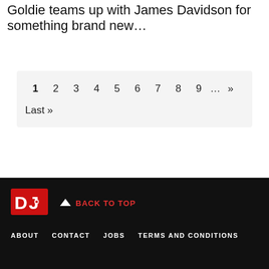Goldie teams up with James Davidson for something brand new…
1 2 3 4 5 6 7 8 9 … »» Last »
[Figure (logo): DJ Mag logo — red letters DU on black background]
BACK TO TOP
ABOUT   CONTACT   JOBS   TERMS AND CONDITIONS